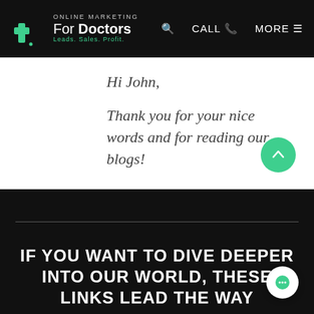Online Marketing For Doctors — Leads. Sales. Profit.
Hi John,
Thank you for your nice words and for reading our blogs!
Cheers, Huyen
Reply
IF YOU WANT TO DIVE DEEPER INTO OUR WORLD, THESE LINKS LEAD THE WAY